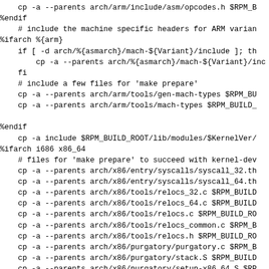cp -a --parents arch/arm/include/asm/opcodes.h $RPM_B
%endif
    # include the machine specific headers for ARM varian
%ifarch %{arm}
    if [ -d arch/%{asmarch}/mach-${Variant}/include ]; th
        cp -a --parents arch/%{asmarch}/mach-${Variant}/inc
    fi
    # include a few files for 'make prepare'
    cp -a --parents arch/arm/tools/gen-mach-types $RPM_BU
    cp -a --parents arch/arm/tools/mach-types $RPM_BUILD_

%endif
    cp -a include $RPM_BUILD_ROOT/lib/modules/$KernelVer/
%ifarch i686 x86_64
    # files for 'make prepare' to succeed with kernel-dev
    cp -a --parents arch/x86/entry/syscalls/syscall_32.th
    cp -a --parents arch/x86/entry/syscalls/syscall_64.th
    cp -a --parents arch/x86/tools/relocs_32.c $RPM_BUILD
    cp -a --parents arch/x86/tools/relocs_64.c $RPM_BUILD
    cp -a --parents arch/x86/tools/relocs.c $RPM_BUILD_RO
    cp -a --parents arch/x86/tools/relocs_common.c $RPM_B
    cp -a --parents arch/x86/tools/relocs.h $RPM_BUILD_RO
    cp -a --parents arch/x86/purgatory/purgatory.c $RPM_B
    cp -a --parents arch/x86/purgatory/stack.S $RPM_BUILD
    cp -a --parents arch/x86/purgatory/setup-x86_64.S $RP
    cp -a --parents arch/x86/purgatory/entry64.S $RPM_BUI
    cp -a --parents arch/x86/boot/string.h $RPM_BUILD_ROO
    cp -a --parents arch/x86/boot/string.c $RPM_BUILD_ROO
    cp -a --parents arch/x86/boot/ctype.h $RPM_BUILD_ROOT